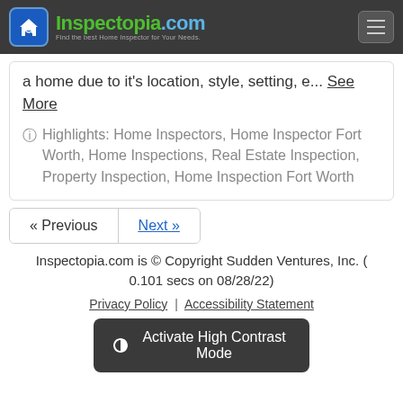Inspectopia.com — Find the best Home Inspector for Your Needs.
a home due to it's location, style, setting, e... See More
Highlights: Home Inspectors, Home Inspector Fort Worth, Home Inspections, Real Estate Inspection, Property Inspection, Home Inspection Fort Worth
« Previous   Next »
Inspectopia.com is © Copyright Sudden Ventures, Inc. ( 0.101 secs on 08/28/22)
Privacy Policy | Accessibility Statement
Activate High Contrast Mode